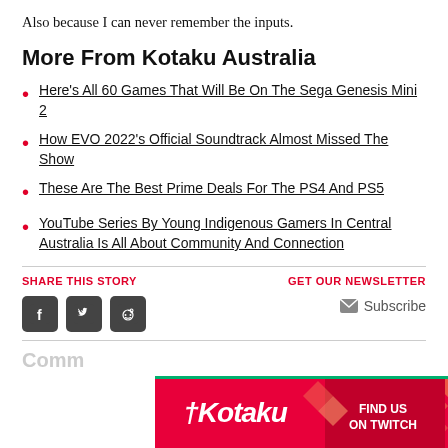Also because I can never remember the inputs.
More From Kotaku Australia
Here's All 60 Games That Will Be On The Sega Genesis Mini 2
How EVO 2022's Official Soundtrack Almost Missed The Show
These Are The Best Prime Deals For The PS4 And PS5
YouTube Series By Young Indigenous Gamers In Central Australia Is All About Community And Connection
SHARE THIS STORY
GET OUR NEWSLETTER
Subscribe
Comm
[Figure (screenshot): Kotaku Find us on Twitch advertisement banner]